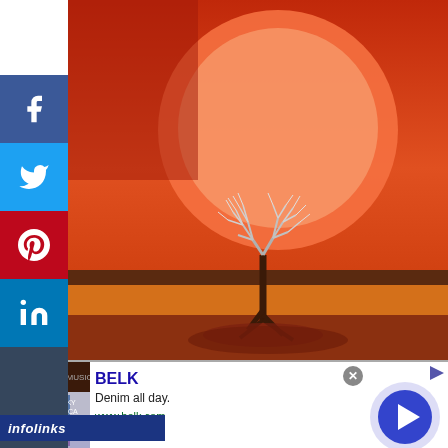[Figure (illustration): Album cover art for Almon Memela – Funky Africa. Painting showing a bare, spiky tree against a large red/orange sun and layered red, orange, brown landscape. Warm African savanna tones.]
ALBUM REVIEW: ALMON MEMELA – FUNKY AFRICA : A SOUTH AFRICAN SOUL-JAZZ CLASSIC REVIVED.
[Figure (infographic): Social media share buttons sidebar on left: Facebook (blue), Twitter (blue), Pinterest (red), LinkedIn (blue), Tumblr (dark). Infolinks bar at bottom left.]
[Figure (screenshot): Advertisement banner: BELK brand ad. Shows image of women on left, text 'BELK', 'Denim all day.', 'www.belk.com'. Blue arrow navigation button on right. Ad close X button top right. Infolinks bar bottom left.]